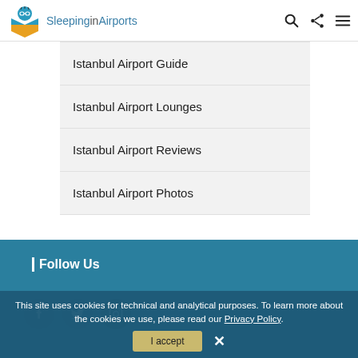Sleeping in Airports
Istanbul Airport Guide
Istanbul Airport Lounges
Istanbul Airport Reviews
Istanbul Airport Photos
Follow Us
This site uses cookies for technical and analytical purposes. To learn more about the cookies we use, please read our Privacy Policy.
I accept